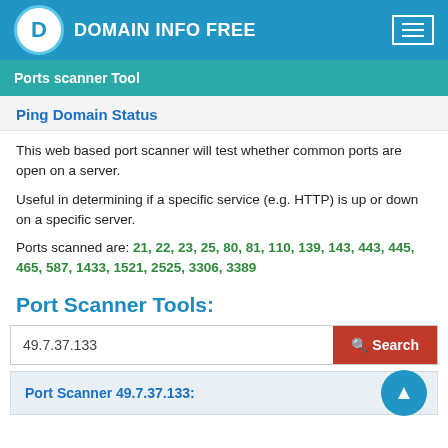DOMAIN INFO FREE
Ports scanner Tool
Ping Domain Status
This web based port scanner will test whether common ports are open on a server.
Useful in determining if a specific service (e.g. HTTP) is up or down on a specific server.
Ports scanned are: 21, 22, 23, 25, 80, 81, 110, 139, 143, 443, 445, 465, 587, 1433, 1521, 2525, 3306, 3389
Port Scanner Tools:
49.7.37.133
Port Scanner 49.7.37.133: